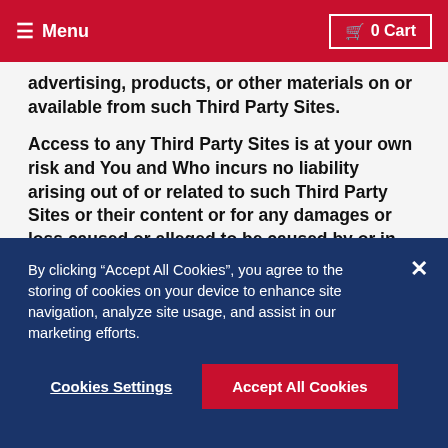Menu | 0 Cart
advertising, products, or other materials on or available from such Third Party Sites.
Access to any Third Party Sites is at your own risk and You and Who incurs no liability arising out of or related to such Third Party Sites or their content or for any damages or loss caused or alleged to be caused by or in connection with any purchase, use of, or reliance on any such content, goods, or services available on or through any such Third Party Site. You and Who has no control over, and assumes no responsibility for the content, privacy policies, or
By clicking “Accept All Cookies”, you agree to the storing of cookies on your device to enhance site navigation, analyze site usage, and assist in our marketing efforts.
Cookies Settings
Accept All Cookies